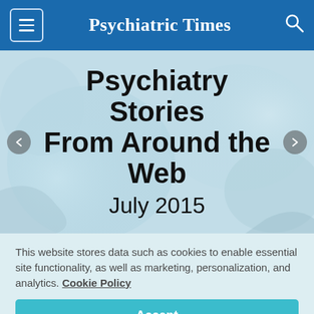Psychiatric Times
[Figure (illustration): Hero banner with blurred brain/neuron background image showing text: Psychiatry Stories From Around the Web, July 2015]
This website stores data such as cookies to enable essential site functionality, as well as marketing, personalization, and analytics. Cookie Policy
Accept
Deny